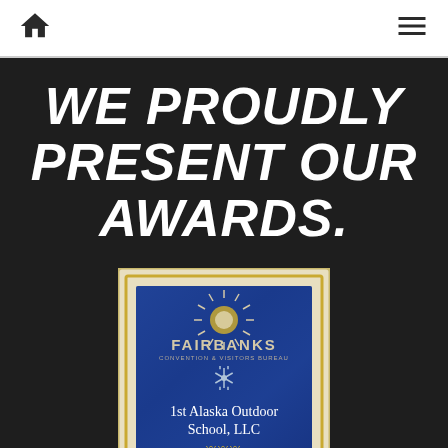Home | Menu
WE PROUDLY PRESENT OUR AWARDS.
[Figure (photo): A blue and gold award plaque from Fairbanks Convention & Visitors Bureau reading '1st Alaska Outdoor School, LLC']